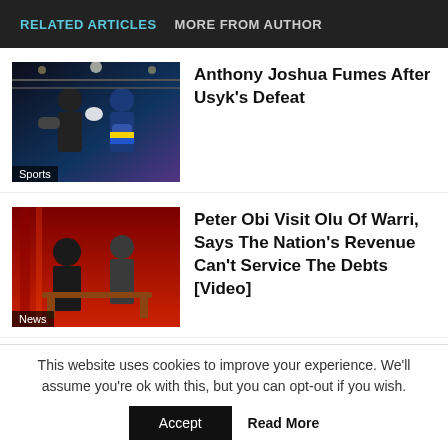RELATED ARTICLES | MORE FROM AUTHOR
Anthony Joshua Fumes After Usyk's Defeat
Peter Obi Visit Olu Of Warri, Says The Nation's Revenue Can't Service The Debts [Video]
Enviable Career Statement of City Lawyer, Kayode Ajulo
This website uses cookies to improve your experience. We'll assume you're ok with this, but you can opt-out if you wish.
Accept | Read More